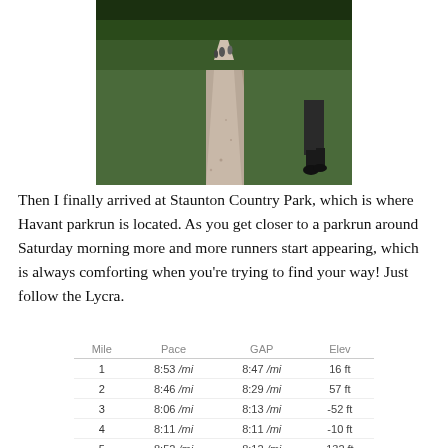[Figure (photo): A gravel path through a green park with runners and walkers visible in the distance and a person's legs visible on the right side]
Then I finally arrived at Staunton Country Park, which is where Havant parkrun is located. As you get closer to a parkrun around Saturday morning more and more runners start appearing, which is always comforting when you're trying to find your way! Just follow the Lycra.
| Mile | Pace | GAP | Elev |
| --- | --- | --- | --- |
| 1 | 8:53 /mi | 8:47 /mi | 16 ft |
| 2 | 8:46 /mi | 8:29 /mi | 57 ft |
| 3 | 8:06 /mi | 8:13 /mi | -52 ft |
| 4 | 8:11 /mi | 8:11 /mi | -10 ft |
| 5 | 8:52 /mi | 8:12 /mi | 132 ft |
| 6 | 9:06 /mi | 8:09 /mi | 177 ft |
| 7 | 8:18 /mi | 8:11 /mi | 22 ft |